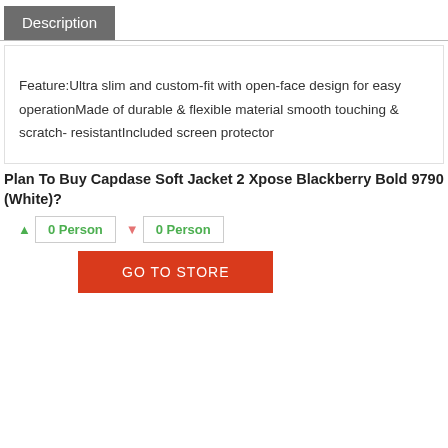Description
Feature:Ultra slim and custom-fit with open-face design for easy operationMade of durable & flexible material smooth touching & scratch- resistantIncluded screen protector
Plan To Buy Capdase Soft Jacket 2 Xpose Blackberry Bold 9790 (White)?
0 Person  0 Person
GO TO STORE